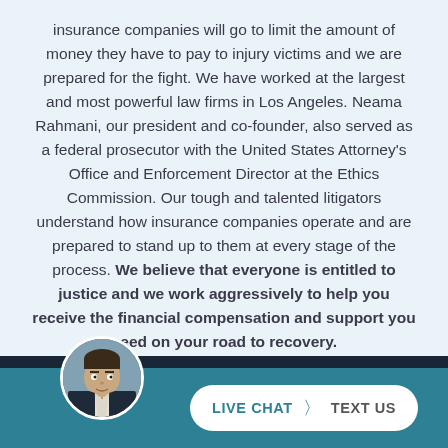insurance companies will go to limit the amount of money they have to pay to injury victims and we are prepared for the fight. We have worked at the largest and most powerful law firms in Los Angeles. Neama Rahmani, our president and co-founder, also served as a federal prosecutor with the United States Attorney's Office and Enforcement Director at the Ethics Commission. Our tough and talented litigators understand how insurance companies operate and are prepared to stand up to them at every stage of the process. We believe that everyone is entitled to justice and we work aggressively to help you receive the financial compensation and support you need on your road to recovery.
[Figure (photo): Circular headshot photo of a man in a dark suit, positioned in the bottom-left area over the teal footer bar]
LIVE CHAT  TEXT US